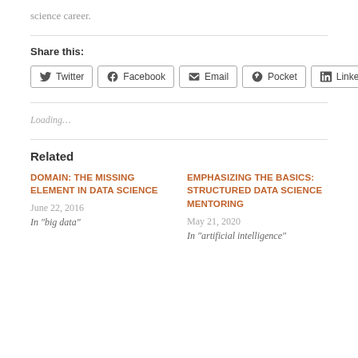science career.
Share this:
Twitter  Facebook  Email  Pocket  LinkedIn
Loading…
Related
DOMAIN: THE MISSING ELEMENT IN DATA SCIENCE
June 22, 2016
In "big data"
EMPHASIZING THE BASICS: STRUCTURED DATA SCIENCE MENTORING
May 21, 2020
In "artificial intelligence"